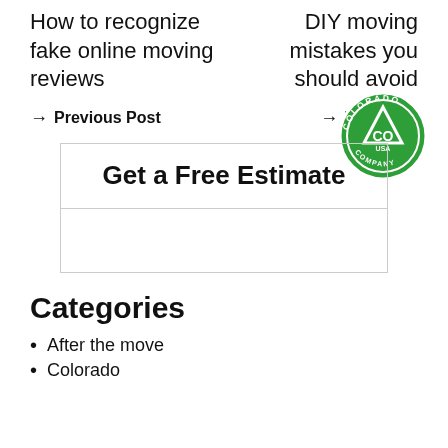How to recognize fake online moving reviews
DIY moving mistakes you should avoid
→ Previous Post
→ Next Post
[Figure (logo): Colorado CO USA Company green circular badge logo with mountain/triangle icon]
Get a Free Estimate
Categories
After the move
Colorado